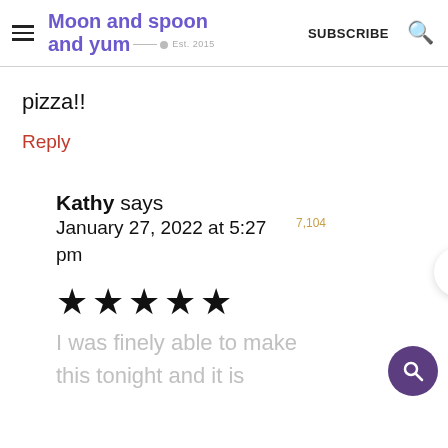Moon and spoon and yum — Est. 2015 | SUBSCRIBE
pizza!!
Reply
Kathy says
January 27, 2022 at 5:27 pm
[Figure (other): Five black filled star rating icons]
I was finely able to make this tonight and it is